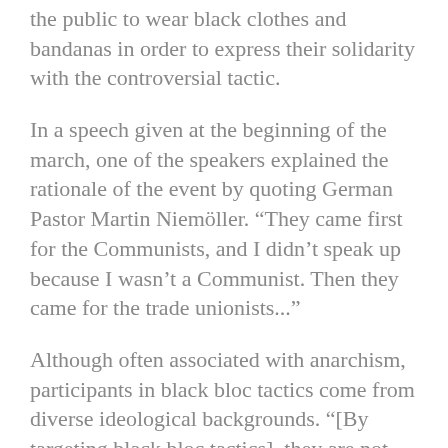the public to wear black clothes and bandanas in order to express their solidarity with the controversial tactic.
In a speech given at the beginning of the march, one of the speakers explained the rationale of the event by quoting German Pastor Martin Niemöller. “They came first for the Communists, and I didn’t speak up because I wasn’t a Communist. Then they came for the trade unionists...”
Although often associated with anarchism, participants in black bloc tactics come from diverse ideological backgrounds. “[By targeting black bloc tactics], they are not just threatening the anarchists, they’re threatening all types of protesters” the speaker continued.
Black bloc tactics, which have received